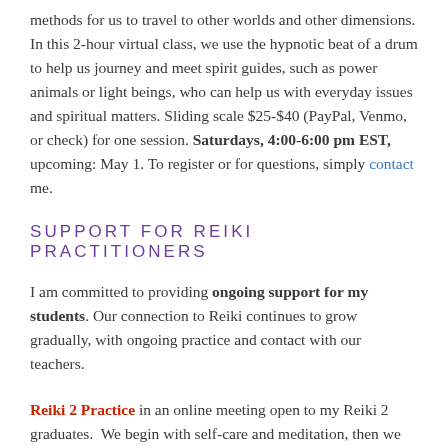methods for us to travel to other worlds and other dimensions. In this 2-hour virtual class, we use the hypnotic beat of a drum to help us journey and meet spirit guides, such as power animals or light beings, who can help us with everyday issues and spiritual matters. Sliding scale $25-$40 (PayPal, Venmo, or check) for one session. Saturdays, 4:00-6:00 pm EST, upcoming: May 1. To register or for questions, simply contact me.
SUPPORT FOR REIKI PRACTITIONERS
I am committed to providing ongoing support for my students. Our connection to Reiki continues to grow gradually, with ongoing practice and contact with our teachers.
Reiki 2 Practice in an online meeting open to my Reiki 2 graduates. We begin with self-care and meditation, then we check in and collaborate to Reiki treat individuals and